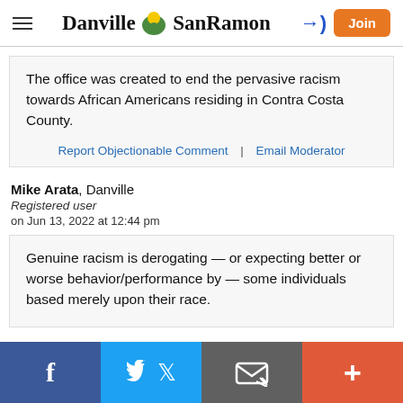Danville SanRamon — header with hamburger menu, logo, login icon, and Join button
The office was created to end the pervasive racism towards African Americans residing in Contra Costa County.
Report Objectionable Comment  |  Email Moderator
Mike Arata, Danville
Registered user
on Jun 13, 2022 at 12:44 pm
Genuine racism is derogating — or expecting better or worse behavior/performance by — some individuals based merely upon their race.
Social sharing bar: Facebook, Twitter, Email, More